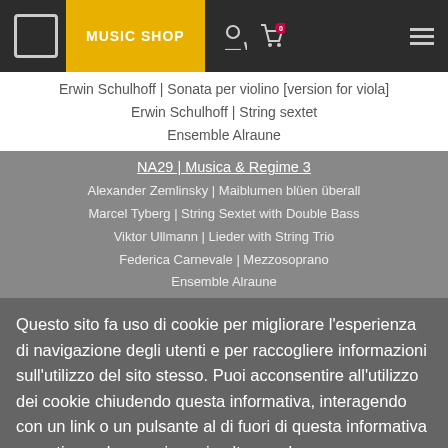MUSIC SHOP
Erwin Schulhoff | Sonata per violino [version for viola]
Erwin Schulhoff | String sextet
Ensemble Alraune
NA29 | Musica & Regime 3
Alexander Zemlinsky | Maiblumen blüen überall
Marcel Tyberg | String Sextet with Double Bass
Viktor Ullmann | Lieder with String Trio
Federica Carnevale | Mezzosoprano
Ensemble Alraune
Questo sito fa uso di cookie per migliorare l'esperienza di navigazione degli utenti e per raccogliere informazioni sull'utilizzo del sito stesso. Puoi acconsentire all'utilizzo dei cookie chiudendo questa informativa, interagendo con un link o un pulsante al di fuori di questa informativa o continuando a navigare in altro modo.
Musica & Regime 4 | NA43
Adolf Busch | Günter Raphael | Paul Hindemith
Bela Bartók | Gideon Klein | Sandór Vandór*
works for solo viola